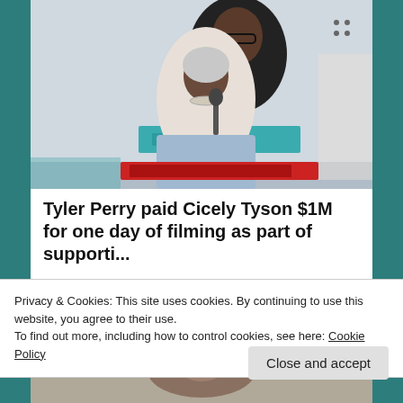[Figure (photo): Tyler Perry hugging Cicely Tyson at a TCL event/film festival, both smiling, with festival banners in the background]
Tyler Perry paid Cicely Tyson $1M for one day of filming as part of supporti...
The Grio
Privacy & Cookies: This site uses cookies. By continuing to use this website, you agree to their use.
To find out more, including how to control cookies, see here: Cookie Policy
[Figure (photo): Partial view of a person at the bottom of the page]